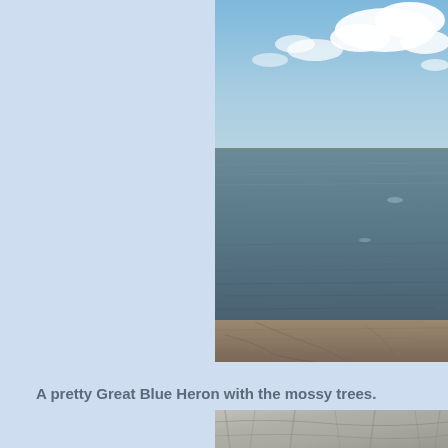[Figure (photo): Photograph of a large open body of water (lake or bay) with choppy grey-blue water, a distant treeline on the horizon, and a partly cloudy blue sky. In the foreground is a concrete or stone dock/seawall edge.]
A pretty Great Blue Heron with the mossy trees.
[Figure (photo): Partial photograph showing what appears to be mossy or lichen-covered trees or branches, grey-white tones, partially cut off at the bottom of the page.]